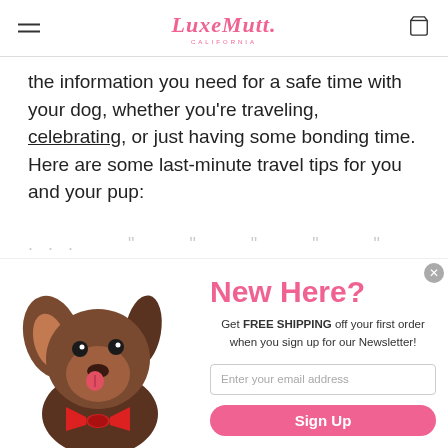LuxeMutt. CALIFORNIA
the information you need for a safe time with your dog, whether you're traveling, celebrating, or just having some bonding time. Here are some last-minute travel tips for you and your pup:
[Figure (screenshot): Popup modal with a brown dog wearing a red bow tie licking its nose, text 'New Here? Get FREE SHIPPING off your first order when you sign up for our Newsletter!' with email input and Sign Up button]